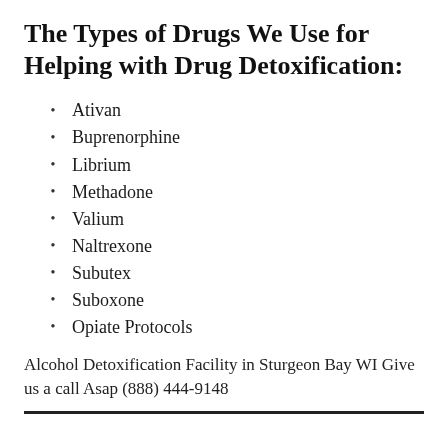The Types of Drugs We Use for Helping with Drug Detoxification:
Ativan
Buprenorphine
Librium
Methadone
Valium
Naltrexone
Subutex
Suboxone
Opiate Protocols
Alcohol Detoxification Facility in Sturgeon Bay WI Give us a call Asap (888) 444-9148